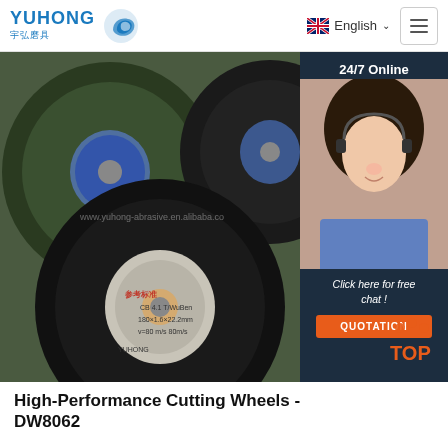YUHONG 宇弘磨具 | English
[Figure (photo): Product photo of cutting wheels/abrasive discs with overlay chat widget showing a customer service representative, '24/7 Online' text, 'Click here for free chat!' and 'QUOTATION' button]
High-Performance Cutting Wheels - DW8062